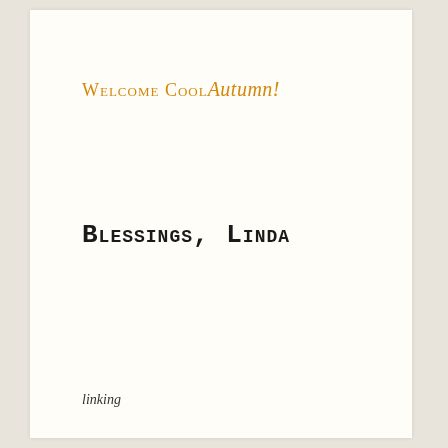Welcome Cool Autumn!
Blessings, Linda
linking